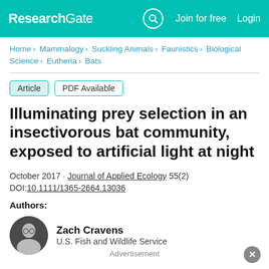ResearchGate  Join for free  Login
Home > Mammalogy > Suckling Animals > Faunistics > Biological Science > Eutheria > Bats
Article  PDF Available
Illuminating prey selection in an insectivorous bat community, exposed to artificial light at night
October 2017 · Journal of Applied Ecology 55(2)
DOI:10.1111/1365-2664.13036
Authors:
Zach Cravens
U.S. Fish and Wildlife Service
Advertisement